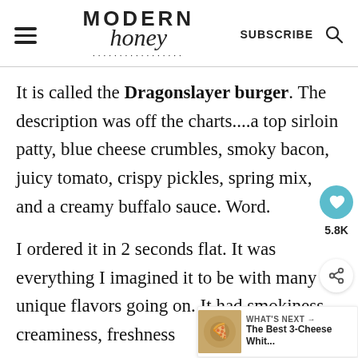Modern Honey — SUBSCRIBE
It is called the Dragonslayer burger. The description was off the charts....a top sirloin patty, blue cheese crumbles, smoky bacon, juicy tomato, crispy pickles, spring mix, and a creamy buffalo sauce. Word.
I ordered it in 2 seconds flat. It was everything I imagined it to be with many unique flavors going on. It had smokiness, creaminess, freshness